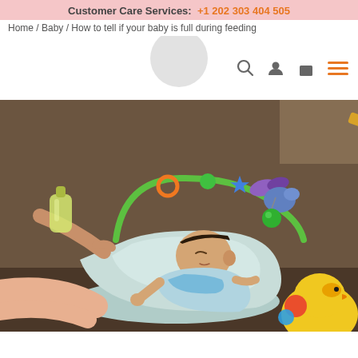Customer Care Services: +1 202 303 404 505
Home / Baby / How to tell if your baby is full during feeding
[Figure (photo): Navigation bar with logo circle, search icon, user icon, shopping bag icon, and hamburger menu icon in orange]
[Figure (photo): A baby lying in a bouncer chair with colorful toys above, being fed by an adult. Colorful toys are in the foreground.]